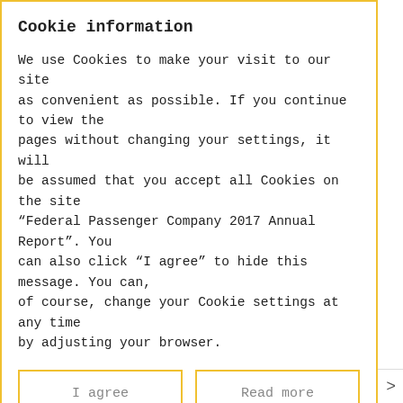Cookie information
We use Cookies to make your visit to our site as convenient as possible. If you continue to view the pages without changing your settings, it will be assumed that you accept all Cookies on the site “Federal Passenger Company 2017 Annual Report”. You can also click “I agree” to hide this message. You can, of course, change your Cookie settings at any time by adjusting your browser.
I agree
Read more
Director
Reviewed proposed changes to the organisational structure of the Company’s administration.
Reviewed FPC’s General Director’s quarterly reports
< Board of Dire... ⌃⌃ Management >